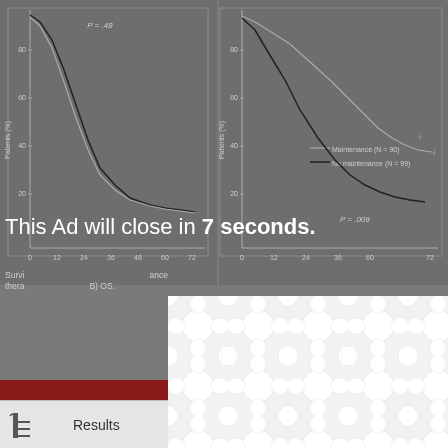[Figure (continuous-plot): Two Kaplan-Meier survival curves side by side (PFS and OS), partially obscured by an advertisement overlay. Left chart shows P = .48, right chart shows Maintenance (N=90) vs No maintenance (N=99) with P = .009. Y-axis: Patients (%), X-axis: 0-72 months.]
[Figure (infographic): Advertisement overlay with a white background and a repeating connected-circle (bubble) pattern in light grey. Contains close button (X in circle) and countdown text 'This Ad will close in 7 seconds.']
Survival curves for (left) PFS and (right) OS according to maintenance therapy. (B) OS.
Consolidation
The relationship between consolidation at randomization and both PFS and OS were evaluated in an
Results